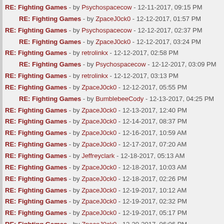RE: Fighting Games - by Psychospacecow - 12-11-2017, 09:15 PM
RE: Fighting Games - by ZpaceJ0ck0 - 12-12-2017, 01:57 PM
RE: Fighting Games - by Psychospacecow - 12-12-2017, 02:37 PM
RE: Fighting Games - by ZpaceJ0ck0 - 12-12-2017, 03:24 PM
RE: Fighting Games - by retrolinkx - 12-12-2017, 02:58 PM
RE: Fighting Games - by Psychospacecow - 12-12-2017, 03:09 PM
RE: Fighting Games - by retrolinkx - 12-12-2017, 03:13 PM
RE: Fighting Games - by ZpaceJ0ck0 - 12-12-2017, 05:55 PM
RE: Fighting Games - by BumblebeeCody - 12-13-2017, 04:25 PM
RE: Fighting Games - by ZpaceJ0ck0 - 12-13-2017, 12:40 PM
RE: Fighting Games - by ZpaceJ0ck0 - 12-14-2017, 08:37 PM
RE: Fighting Games - by ZpaceJ0ck0 - 12-16-2017, 10:59 AM
RE: Fighting Games - by ZpaceJ0ck0 - 12-17-2017, 07:20 AM
RE: Fighting Games - by Jeffreyclark - 12-18-2017, 05:13 AM
RE: Fighting Games - by ZpaceJ0ck0 - 12-18-2017, 10:03 AM
RE: Fighting Games - by ZpaceJ0ck0 - 12-18-2017, 02:26 PM
RE: Fighting Games - by ZpaceJ0ck0 - 12-19-2017, 10:12 AM
RE: Fighting Games - by ZpaceJ0ck0 - 12-19-2017, 02:32 PM
RE: Fighting Games - by ZpaceJ0ck0 - 12-19-2017, 05:17 PM
RE: Fighting Games - by ZpaceJ0ck0 - 12-20-2017, 06:06 PM
RE: Fighting Games - by ZpaceJ0ck0 - 12-21-2017, 03:45 PM
RE: Fighting Games - by Psychospacecow - 12-21-2017, 04:12 PM
RE: Fighting Games - by ZpaceJ0ck0 - 12-22-2017, 11:16 AM
RE: Fighting Games - by ZpaceJ0ck0 - 12-23-2017, 12:39 PM
RE: Fighting Games - by ZpaceJ0ck0 - 12-23-2017, 08:18 PM